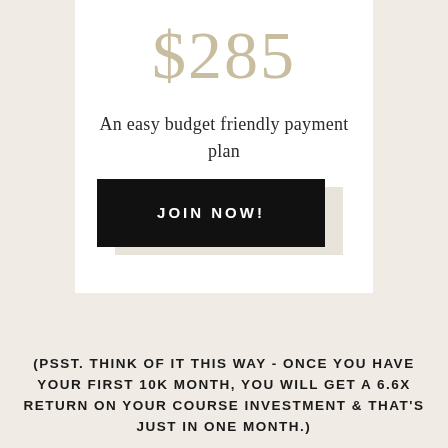$285
An easy budget friendly payment plan
JOIN NOW!
(PSST. THINK OF IT THIS WAY - ONCE YOU HAVE YOUR FIRST 10K MONTH, YOU WILL GET A 6.6X RETURN ON YOUR COURSE INVESTMENT & THAT'S JUST IN ONE MONTH.)